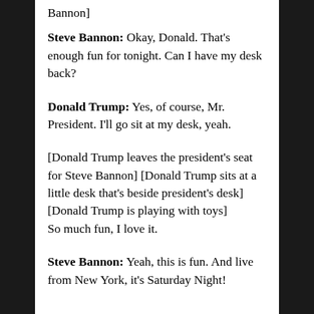Bannon]
Steve Bannon: Okay, Donald. That's enough fun for tonight. Can I have my desk back?
Donald Trump: Yes, of course, Mr. President. I'll go sit at my desk, yeah.
[Donald Trump leaves the president's seat for Steve Bannon] [Donald Trump sits at a little desk that's beside president's desk] [Donald Trump is playing with toys]
So much fun, I love it.
Steve Bannon: Yeah, this is fun. And live from New York, it's Saturday Night!